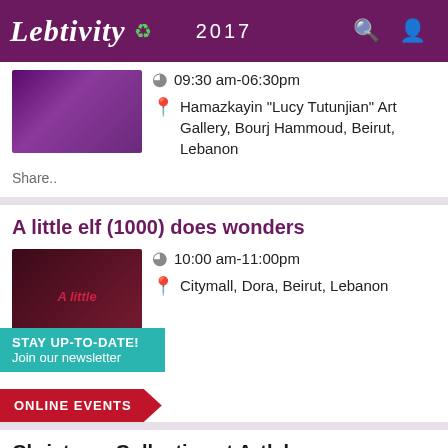Lebtivity 2017
09:30 am-06:30pm
Hamazkayin "Lucy Tutunjian" Art Gallery, Bourj Hammoud, Beirut, Lebanon
Share..
A little elf (1000) does wonders
10:00 am-11:00pm
Citymall, Dora, Beirut, Lebanon
STAY UP-TO-DATE! Join our newsletter
ONLINE EVENTS
Christmas Collective at Artlab
10:00 am-07:00pm
ArtLab, Beirut, Lebanon